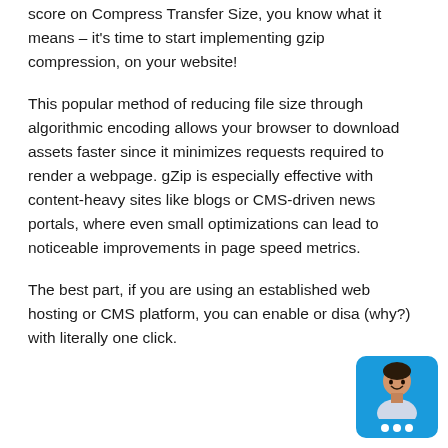score on Compress Transfer Size, you know what it means – it's time to start implementing gzip compression, on your website!
This popular method of reducing file size through algorithmic encoding allows your browser to download assets faster since it minimizes requests required to render a webpage. gZip is especially effective with content-heavy sites like blogs or CMS-driven news portals, where even small optimizations can lead to noticeable improvements in page speed metrics.
The best part, if you are using an established web hosting or CMS platform, you can enable or disa… (why?) with literally one click.
[Figure (photo): Small circular avatar photo of a man smiling, with a blue chat bubble icon overlay at the bottom right corner of the page.]